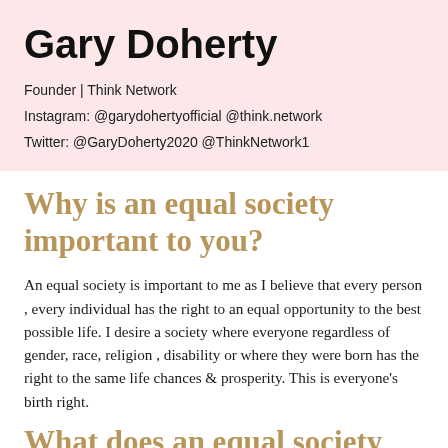Gary Doherty
Founder | Think Network
Instagram: @garydohertyofficial @think.network
Twitter: @GaryDoherty2020 @ThinkNetwork1
Why is an equal society important to you?
An equal society is important to me as I believe that every person , every individual has the right to an equal opportunity to the best possible life. I desire a society where everyone regardless of gender, race, religion , disability or where they were born has the right to the same life chances & prosperity. This is everyone's birth right.
What does an equal society